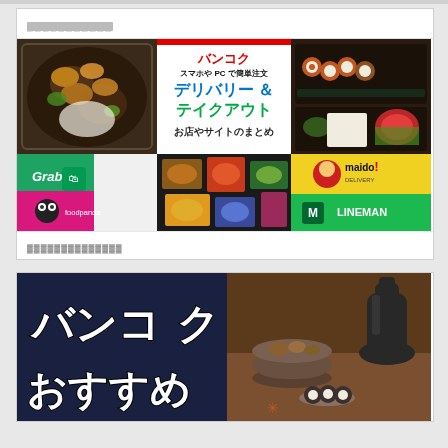（グレーテキスト）
[Figure (photo): Bangkok delivery and takeout advertisement banner. Left panel shows Japanese bento box with tempura. Center panel shows red/blue/green text on white: バンコク / スマホや PC で簡単注文 / デリバリー ＆ テイクアウト / お店やサイトのまとめ. Right panel shows sushi and bento with fruit. Bottom left shows Grab and foodpanda logos on green/pink backgrounds. Bottom center shows colorful bento spread. Bottom right shows maido! delivery and LINEMAN logos on yellow/green backgrounds.]
（リンクテキスト）
[Figure (photo): Bangkok recommended Japanese restaurant advertisement. Left panel shows large white bold Japanese text バンコク おすすめ on dark navy background. Right panel shows Japanese sake set with pottery cup and tokkuri bottle, with small snacks on wooden table.]